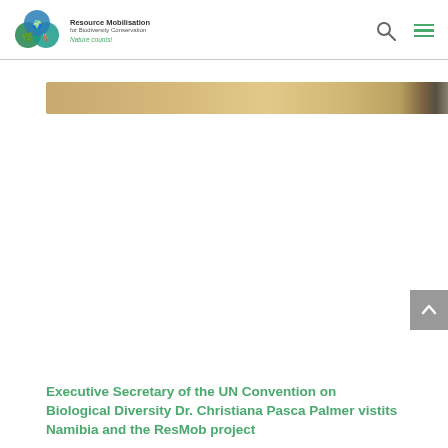Resource Mobilisation for Biodiversity Conservation — Nature counts!
[Figure (photo): A wide horizontal banner image showing what appears to be a wooden or golden-toned surface or bar, displayed as a narrow landscape strip.]
Executive Secretary of the UN Convention on Biological Diversity Dr. Christiana Pasca Palmer vistits Namibia and the ResMob project